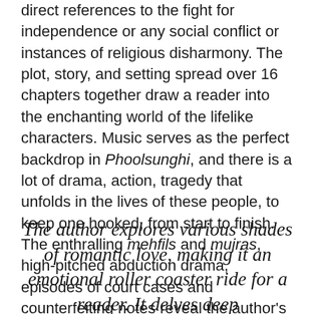direct references to the fight for independence or any social conflict or instances of religious disharmony. The plot, story, and setting spread over 16 chapters together draw a reader into the enchanting world of the lifelike characters. Music serves as the perfect backdrop in Phoolsunghi, and there is a lot of drama, action, tragedy that unfolds in the lives of these people, to keep one hooked, from start to finish. The enthralling mehfils and mujras, high-pitched abduction drama, episodes of court cases and counterfeiting notes reveal the author's attempt to make it a wholesome entertainer.
The author explores various shades of romantic love, making it an emotional roller coaster ride for a reader. It delves deep